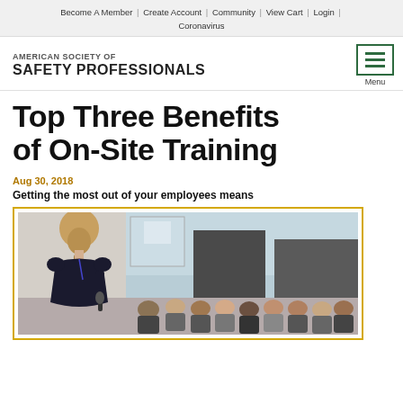Become A Member | Create Account | Community | View Cart | Login | Coronavirus
[Figure (logo): American Society of Safety Professionals logo with text]
Top Three Benefits of On-Site Training
Aug 30, 2018
Getting the most out of your employees means
[Figure (photo): A female presenter speaking to a seated audience in a training room setting]